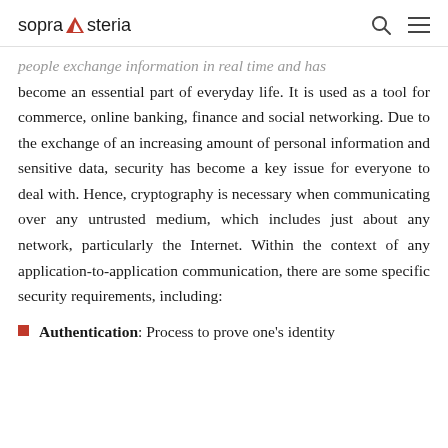sopra steria
people exchange information in real time and has become an essential part of everyday life. It is used as a tool for commerce, online banking, finance and social networking. Due to the exchange of an increasing amount of personal information and sensitive data, security has become a key issue for everyone to deal with. Hence, cryptography is necessary when communicating over any untrusted medium, which includes just about any network, particularly the Internet. Within the context of any application-to-application communication, there are some specific security requirements, including:
Authentication: Process to prove one's identity